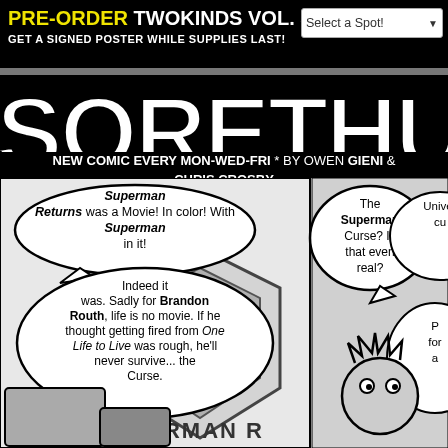PRE-ORDER TWOKINDS VOL. 5 GET A SIGNED POSTER WHILE SUPPLIES LAST!
SORETHUMB
NEW COMIC EVERY MON-WED-FRI * BY OWEN GIENI & CHRIS CROSBY
[Figure (illustration): Comic strip panels showing characters discussing Superman Returns and the Superman Curse. Left panel has speech bubbles about Superman Returns being a movie and Brandon Routh's career, right panel has characters discussing the Superman Curse.]